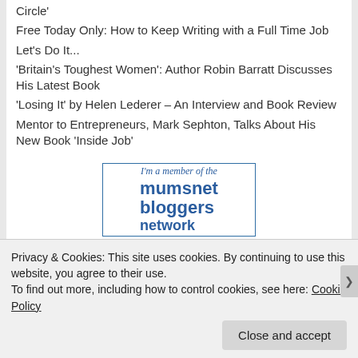Circle'
Free Today Only: How to Keep Writing with a Full Time Job
Let's Do It...
'Britain's Toughest Women': Author Robin Barratt Discusses His Latest Book
'Losing It' by Helen Lederer – An Interview and Book Review
Mentor to Entrepreneurs, Mark Sephton, Talks About His New Book 'Inside Job'
[Figure (logo): Mumsnet Bloggers Network logo with italic text 'I'm a member of the' above bold text 'mumsnet bloggers network']
Privacy & Cookies: This site uses cookies. By continuing to use this website, you agree to their use.
To find out more, including how to control cookies, see here: Cookie Policy
Close and accept